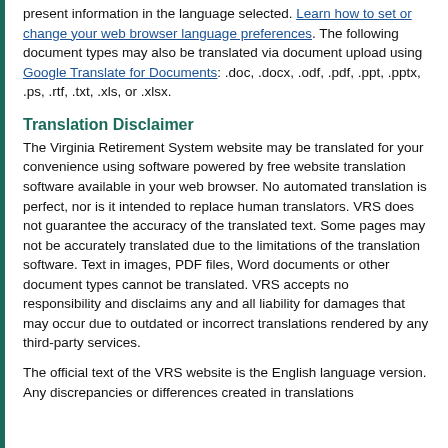present information in the language selected. Learn how to set or change your web browser language preferences. The following document types may also be translated via document upload using Google Translate for Documents: .doc, .docx, .odf, .pdf, .ppt, .pptx, .ps, .rtf, .txt, .xls, or .xlsx.
Translation Disclaimer
The Virginia Retirement System website may be translated for your convenience using software powered by free website translation software available in your web browser. No automated translation is perfect, nor is it intended to replace human translators. VRS does not guarantee the accuracy of the translated text. Some pages may not be accurately translated due to the limitations of the translation software. Text in images, PDF files, Word documents or other document types cannot be translated. VRS accepts no responsibility and disclaims any and all liability for damages that may occur due to outdated or incorrect translations rendered by any third-party services.
The official text of the VRS website is the English language version. Any discrepancies or differences created in translations